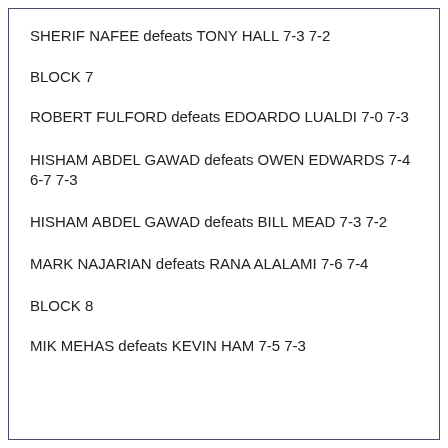SHERIF NAFEE defeats TONY HALL 7-3 7-2
BLOCK 7
ROBERT FULFORD defeats EDOARDO LUALDI 7-0 7-3
HISHAM ABDEL GAWAD defeats OWEN EDWARDS 7-4 6-7 7-3
HISHAM ABDEL GAWAD defeats BILL MEAD 7-3 7-2
MARK NAJARIAN defeats RANA ALALAMI 7-6 7-4
BLOCK 8
MIK MEHAS defeats KEVIN HAM 7-5 7-3